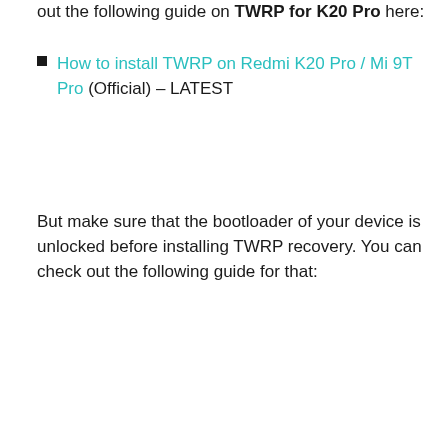out the following guide on TWRP for K20 Pro here:
How to install TWRP on Redmi K20 Pro / Mi 9T Pro (Official) – LATEST
But make sure that the bootloader of your device is unlocked before installing TWRP recovery. You can check out the following guide for that: